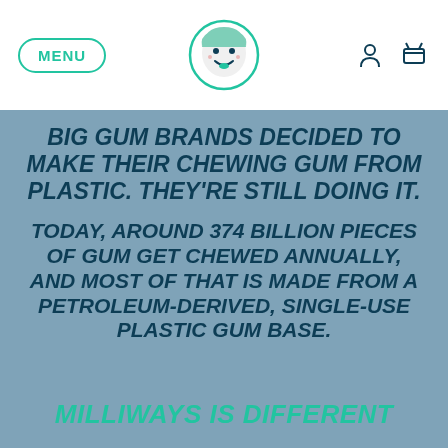MENU | [logo] | [user icon] [cart icon]
BIG GUM BRANDS DECIDED TO MAKE THEIR CHEWING GUM FROM PLASTIC. THEY'RE STILL DOING IT.
TODAY, AROUND 374 BILLION PIECES OF GUM GET CHEWED ANNUALLY, AND MOST OF THAT IS MADE FROM A PETROLEUM-DERIVED, SINGLE-USE PLASTIC GUM BASE.
MILLIWAYS IS DIFFERENT